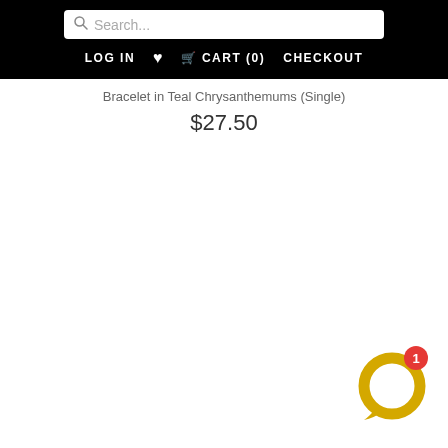Search... LOG IN ♥ CART (0) CHECKOUT
Bracelet in Teal Chrysanthemums (Single)
$27.50
[Figure (illustration): Yellow chat bubble icon with red notification badge showing number 1]